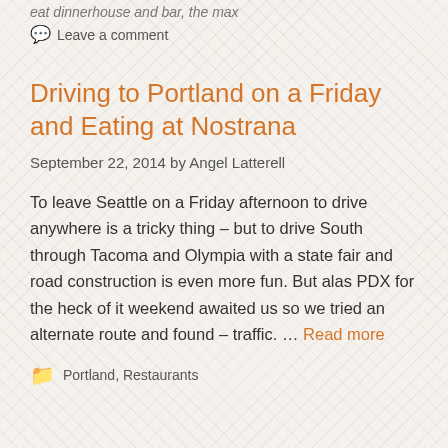eat dinnerhouse and bar, the max
Leave a comment
Driving to Portland on a Friday and Eating at Nostrana
September 22, 2014 by Angel Latterell
To leave Seattle on a Friday afternoon to drive anywhere is a tricky thing – but to drive South through Tacoma and Olympia with a state fair and road construction is even more fun. But alas PDX for the heck of it weekend awaited us so we tried an alternate route and found – traffic. … Read more
Portland, Restaurants